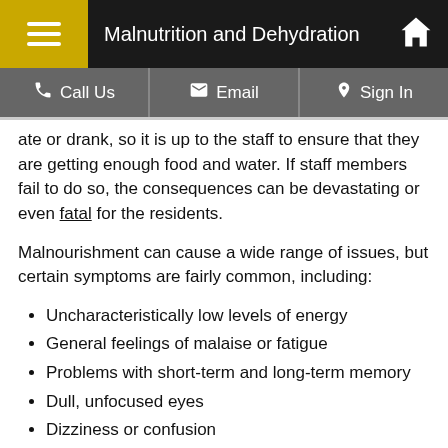Malnutrition and Dehydration
ate or drank, so it is up to the staff to ensure that they are getting enough food and water. If staff members fail to do so, the consequences can be devastating or even fatal for the residents.
Malnourishment can cause a wide range of issues, but certain symptoms are fairly common, including:
Uncharacteristically low levels of energy
General feelings of malaise or fatigue
Problems with short-term and long-term memory
Dull, unfocused eyes
Dizziness or confusion
Trouble concentrating or focusing on even simply conversations
Inability to perform everyday functions
Tooth decay or bleeding gums